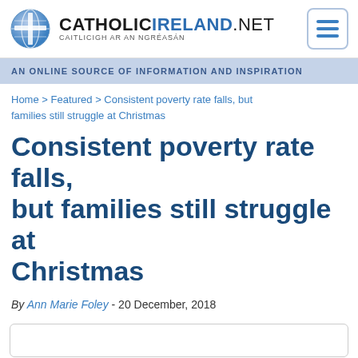CATHOLICIRELAND.NET — CAITLICIGH AR AN NGRÉASÁN
AN ONLINE SOURCE OF INFORMATION AND INSPIRATION
Home > Featured > Consistent poverty rate falls, but families still struggle at Christmas
Consistent poverty rate falls, but families still struggle at Christmas
By Ann Marie Foley - 20 December, 2018